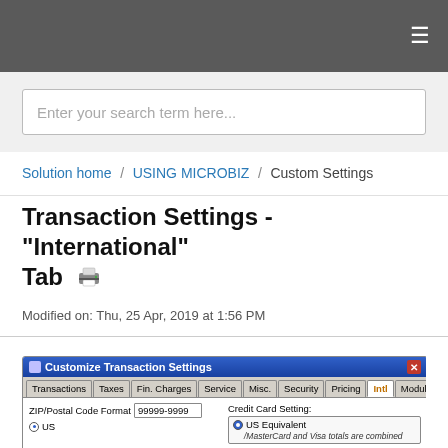≡
Enter your search term here...
Solution home / USING MICROBIZ / Custom Settings
Transaction Settings - "International" Tab 🖨
Modified on: Thu, 25 Apr, 2019 at 1:56 PM
[Figure (screenshot): Screenshot of Customize Transaction Settings dialog with tabs: Transactions, Taxes, Fin. Charges, Service, Misc., Security, Pricing, Intl (active/selected), Module, Composites. Left panel shows ZIP/Postal Code Format field with value 99999-9999 and a US radio button. Right panel shows Credit Card Setting group with US Equivalent radio selected and MasterCard/Visa totals note.]